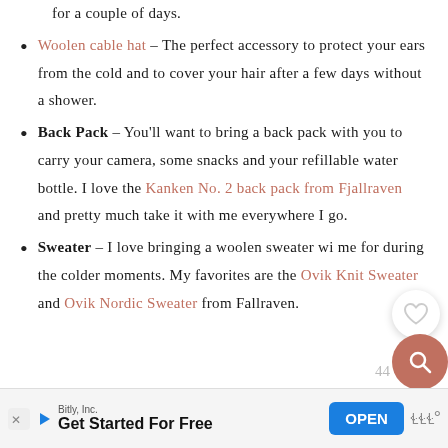for a couple of days.
Woolen cable hat – The perfect accessory to protect your ears from the cold and to cover your hair after a few days without a shower.
Back Pack – You'll want to bring a back pack with you to carry your camera, some snacks and your refillable water bottle. I love the Kanken No. 2 back pack from Fjallraven and pretty much take it with me everywhere I go.
Sweater – I love bringing a woolen sweater with me for during the colder moments. My favorites are the Ovik Knit Sweater and Ovik Nordic Sweater from Fallraven.
[Figure (other): Advertisement banner: Bitly, Inc. Get Started For Free, OPEN button]
44